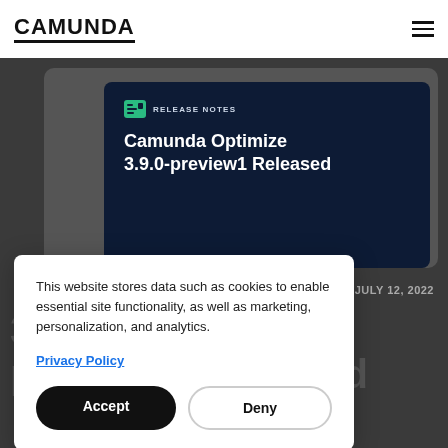CAMUNDA
[Figure (screenshot): Camunda Optimize 3.9.0-preview1 Released release notes card on dark background]
JULY 12, 2022
3.9.0-preview1 Released
This website stores data such as cookies to enable essential site functionality, as well as marketing, personalization, and analytics.
Privacy Policy
Accept
Deny